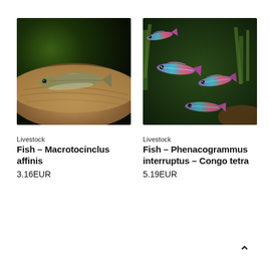[Figure (photo): Close-up photo of a Macrotocinclus affinis fish resting on driftwood against a dark green background]
Livestock
Fish – Macrotocinclus affinis
3.16EUR
[Figure (photo): Photo of multiple Phenacogrammus interruptus (Congo tetra) fish swimming in an aquarium with green plants]
Livestock
Fish – Phenacogrammus interruptus – Congo tetra
5.19EUR